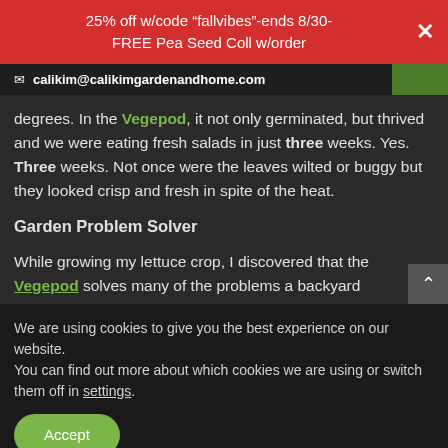25% off w/code “fallvibes”-ends 8/30-FREE Pea Seed Coll w/order
calikim@calikimgardenandhome.com
degrees. In the Vegepod, it not only germinated, but thrived and we were eating fresh salads in just three weeks. Yes. Three weeks. Not once were the leaves wilted or buggy but they looked crisp and fresh in spite of the heat.
Garden Problem Solver
While growing my lettuce crop, I discovered that the Vegepod solves many of the problems a backyard
We are using cookies to give you the best experience on our website.
You can find out more about which cookies we are using or switch them off in settings.
Accept